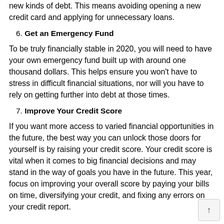new kinds of debt. This means avoiding opening a new credit card and applying for unnecessary loans.
6. Get an Emergency Fund
To be truly financially stable in 2020, you will need to have your own emergency fund built up with around one thousand dollars. This helps ensure you won't have to stress in difficult financial situations, nor will you have to rely on getting further into debt at those times.
7. Improve Your Credit Score
If you want more access to varied financial opportunities in the future, the best way you can unlock those doors for yourself is by raising your credit score. Your credit score is vital when it comes to big financial decisions and may stand in the way of goals you have in the future. This year, focus on improving your overall score by paying your bills on time, diversifying your credit, and fixing any errors on your credit report.